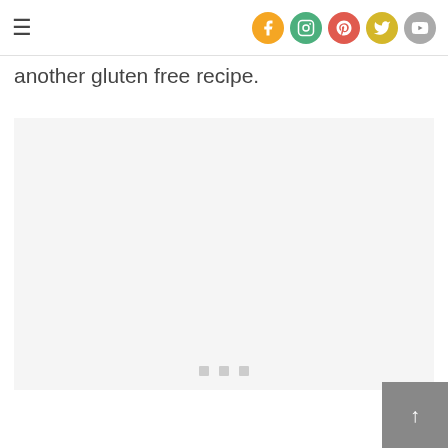☰ [social icons: Facebook, Instagram, Pinterest, Twitter, YouTube]
another gluten free recipe.
[Figure (other): Advertisement placeholder block with three small square dots centered at the bottom]
[Figure (other): Back to top arrow button (↑) in grey square at bottom right]